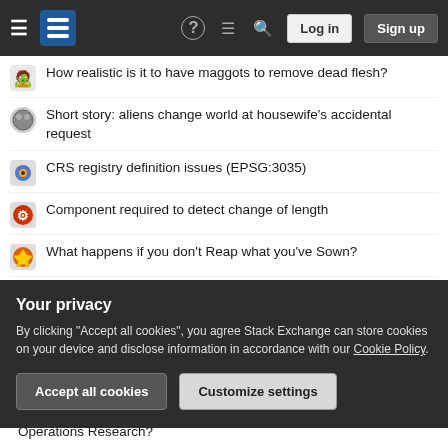Stack Exchange navigation bar with Log in and Sign up buttons
How realistic is it to have maggots to remove dead flesh?
Short story: aliens change world at housewife's accidental request
CRS registry definition issues (EPSG:3035)
Component required to detect change of length
What happens if you don't Reap what you've Sown?
How to create a partially deformed cable?
What problems, if any, does a low density cause in a planet larger than Earth in mass and radius?
Emergency brake metal latch has snapped off, can it be re-soldered?
Your privacy
By clicking "Accept all cookies", you agree Stack Exchange can store cookies on your device and disclose information in accordance with our Cookie Policy.
Accept all cookies | Customize settings
Operations Research?